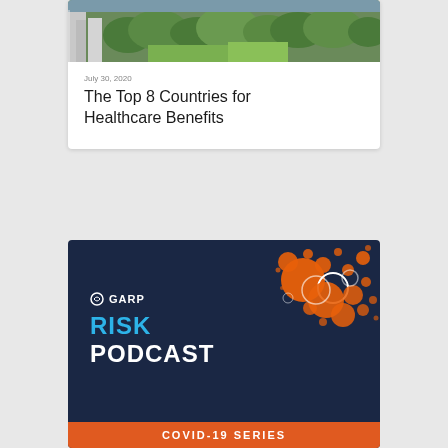[Figure (photo): Aerial view of urban area with buildings and green trees]
July 30, 2020
The Top 8 Countries for Healthcare Benefits
[Figure (logo): GARP Risk Podcast - COVID-19 Series promotional banner with dark navy background, orange bubble graphics, GARP logo, blue RISK text, white PODCAST text, and orange COVID-19 SERIES banner]